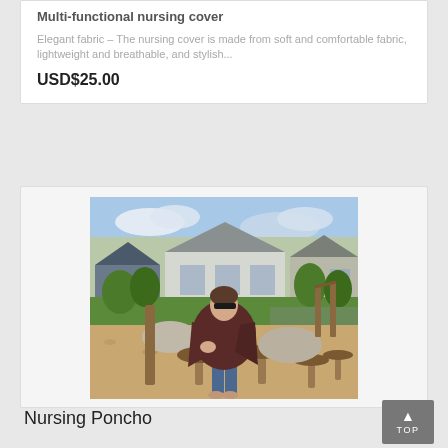Multi-functional nursing cover
Elegant fabric – The nursing cover is made from soft and comfortable fabric, lightweight and breathable, and stylish...
USD$25.00
[Figure (photo): A woman wearing a dark maroon nursing poncho sitting on a wooden mushroom stool in a playground area with wood chip ground cover, large stones, and houses visible in the background.]
Nursing Poncho